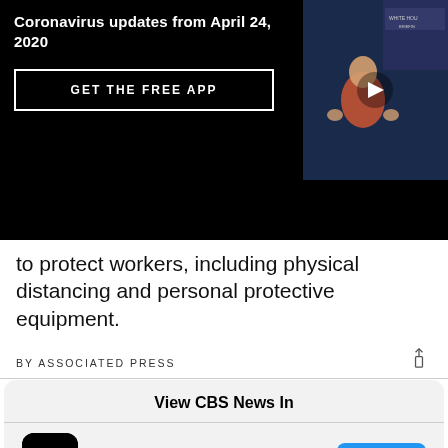Coronavirus updates from April 24, 2020
GET THE FREE APP
[Figure (screenshot): Video thumbnail showing a person at a press briefing with a play button overlay]
to protect workers, including physical distancing and personal protective equipment.
BY ASSOCIATED PRESS
View CBS News In
CBS News App — OPEN
Safari — CONTINUE